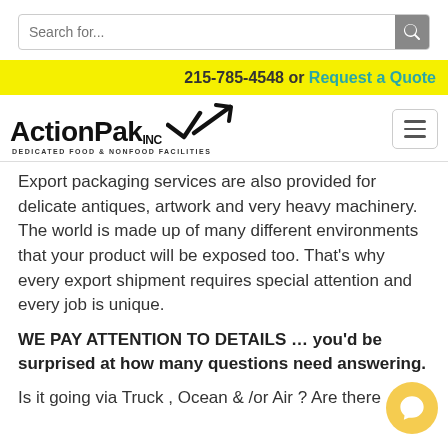Search for...
215-785-4548 or Request a Quote
[Figure (logo): ActionPak Inc logo with checkmark and arrow, subtitle: DEDICATED FOOD & NONFOOD FACILITIES]
Export packaging services are also provided for delicate antiques, artwork and very heavy machinery. The world is made up of many different environments that your product will be exposed too. That’s why every export shipment requires special attention and every job is unique.
WE PAY ATTENTION TO DETAILS … you’d be surprised at how many questions need answering.
Is it going via Truck , Ocean & /or Air ? Are there